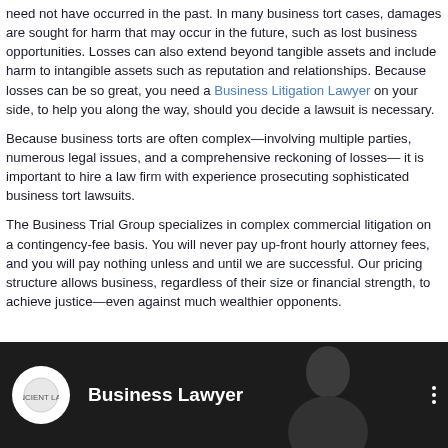need not have occurred in the past. In many business tort cases, damages are sought for harm that may occur in the future, such as lost business opportunities. Losses can also extend beyond tangible assets and include harm to intangible assets such as reputation and relationships. Because losses can be so great, you need a Business Litigation Lawyer on your side, to help you along the way, should you decide a lawsuit is necessary.
Because business torts are often complex—involving multiple parties, numerous legal issues, and a comprehensive reckoning of losses— it is important to hire a law firm with experience prosecuting sophisticated business tort lawsuits.
The Business Trial Group specializes in complex commercial litigation on a contingency-fee basis. You will never pay up-front hourly attorney fees, and you will pay nothing unless and until we are successful. Our pricing structure allows business, regardless of their size or financial strength, to achieve justice—even against much wealthier opponents.
[Figure (screenshot): Video thumbnail showing 'Business Lawyer' title with a logo circle on the left and a person visible in the background, on a dark background]